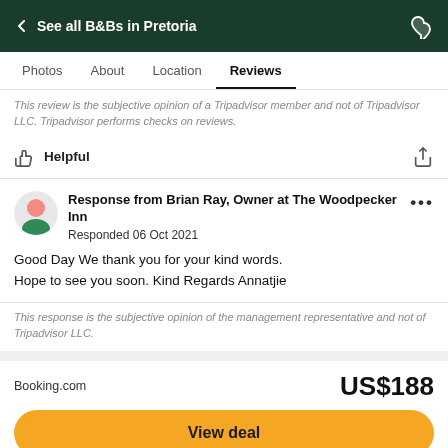← See all B&Bs in Pretoria
Photos  About  Location  Reviews
This review is the subjective opinion of a Tripadvisor member and not of Tripadvisor LLC. Tripadvisor performs checks on reviews.
Helpful
Response from Brian Ray, Owner at The Woodpecker Inn
Responded 06 Oct 2021
Good Day We thank you for your kind words. Hope to see you soon. Kind Regards Annatjie
This response is the subjective opinion of the management representative and not of Tripadvisor LLC.
Booking.com  US$188
View deal